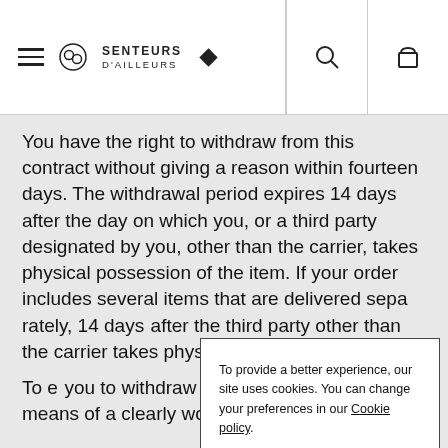[Figure (logo): Senteurs d'Ailleurs website header with hamburger menu, circular logo, brand name, diamond icon, search icon, and bag icon]
You have the right to withdraw from this contract without giving a reason within fourteen days. The withdrawal period expires 14 days after the day on which you, or a third party designated by you, other than the carrier, takes physical possession of the item. If your order includes several items that are delivered separately, the period expires 14 days after the day on which you, or a third party designated by you, other than the carrier, takes physical possession of the last item. To exercise the right of withdrawal, you must inform us of your decision to withdraw from this contract by means of a clearly worded statement
To provide a better experience, our site uses cookies. You can change your preferences in our Cookie policy.